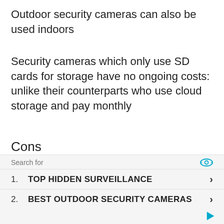Outdoor security cameras can also be used indoors
Security cameras which only use SD cards for storage have no ongoing costs: unlike their counterparts who use cloud storage and pay monthly
Cons
Security cameras that use SD cards for storage are vulnerable to be stolen because you won't just lose the camera but you will lose all the footage.
1. TOP HIDDEN SURVEILLANCE
2. BEST OUTDOOR SECURITY CAMERAS